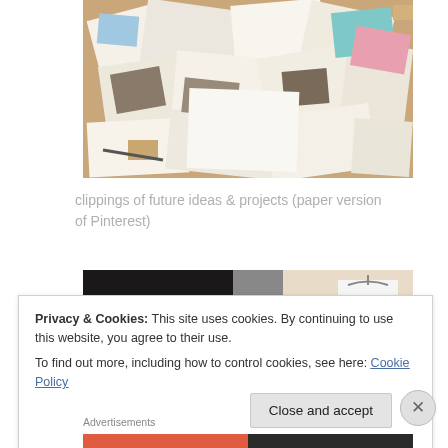[Figure (photo): A messy pile of paper clippings, photos, and magazine cutouts on a cork board — a physical inspiration board/scrapbook]
clippings of future ideas & projects (paper version of Pinterest)
[Figure (photo): Partially visible photo showing a dark/black area on the left and a wardrobe/clothing rack with white garment on the right]
Privacy & Cookies: This site uses cookies. By continuing to use this website, you agree to their use.
To find out more, including how to control cookies, see here: Cookie Policy
Close and accept
Advertisements